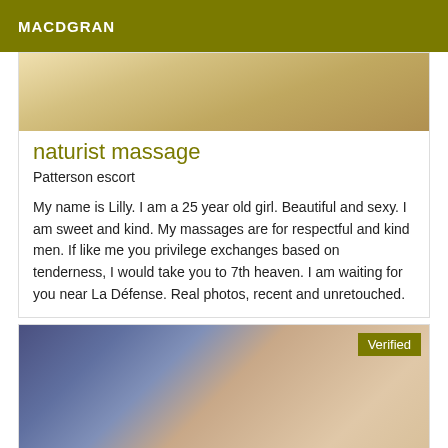MACDGRAN
[Figure (photo): Top portion of a photo showing blonde hair, cropped at top]
naturist massage
Patterson escort
My name is Lilly. I am a 25 year old girl. Beautiful and sexy. I am sweet and kind. My massages are for respectful and kind men. If like me you privilege exchanges based on tenderness, I would take you to 7th heaven. I am waiting for you near La Défense. Real photos, recent and unretouched.
[Figure (photo): Photo showing a massage scene with blue gloves and skin, with a Verified badge overlay]